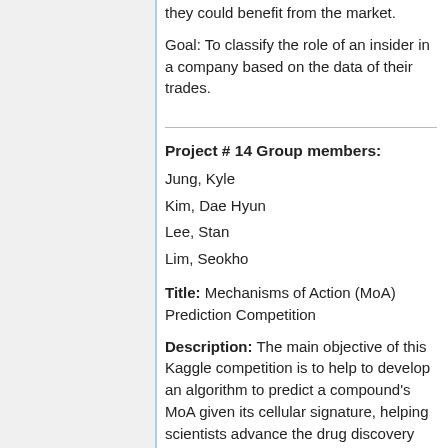they could benefit from the market.
Goal: To classify the role of an insider in a company based on the data of their trades.
Project # 14 Group members:
Jung, Kyle
Kim, Dae Hyun
Lee, Stan
Lim, Seokho
Title: Mechanisms of Action (MoA) Prediction Competition
Description: The main objective of this Kaggle competition is to help to develop an algorithm to predict a compound's MoA given its cellular signature, helping scientists advance the drug discovery